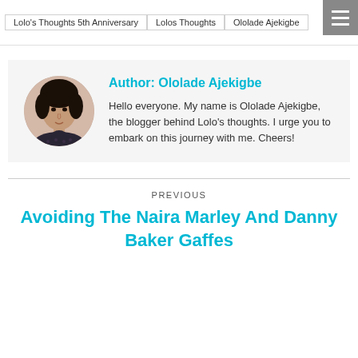Lolo's Thoughts 5th Anniversary | Lolos Thoughts | Ololade Ajekigbe
[Figure (photo): Circular portrait photo of Ololade Ajekigbe, a woman with long dark hair wearing a dark patterned top, against a light background.]
Author: Ololade Ajekigbe
Hello everyone. My name is Ololade Ajekigbe, the blogger behind Lolo's thoughts. I urge you to embark on this journey with me. Cheers!
PREVIOUS
Avoiding The Naira Marley And Danny Baker Gaffes